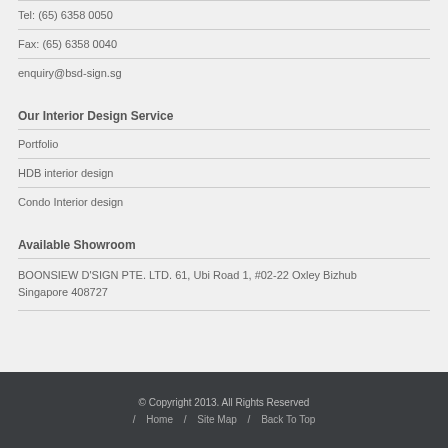Tel: (65) 6358 0050
Fax: (65) 6358 0040
enquiry@bsd-sign.sg
Our Interior Design Service
Portfolio
HDB interior design
Condo Interior design
Available Showroom
BOONSIEW D'SIGN PTE. LTD. 61, Ubi Road 1, #02-22 Oxley Bizhub
Singapore 408727
© Copyright 2013. All Rights Reserved / Home / Site Map / Back To Top